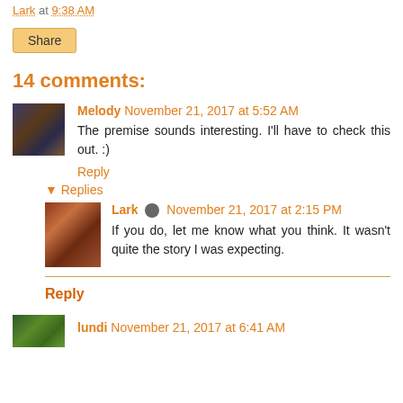Lark at 9:38 AM
Share
14 comments:
Melody November 21, 2017 at 5:52 AM
The premise sounds interesting. I'll have to check this out. :)
Reply
▾ Replies
Lark November 21, 2017 at 2:15 PM
If you do, let me know what you think. It wasn't quite the story I was expecting.
Reply
lundi November 21, 2017 at 6:41 AM